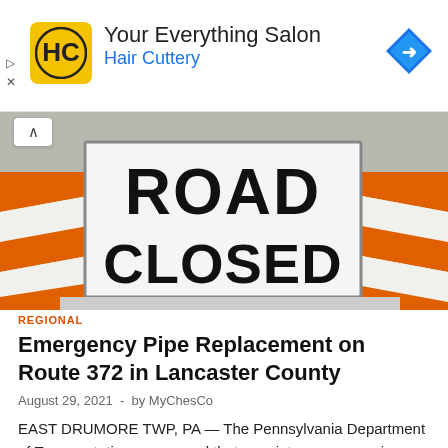[Figure (other): Hair Cuttery advertisement banner with logo, text 'Your Everything Salon Hair Cuttery', and navigation arrow icon]
[Figure (photo): Close-up photo of a Road Closed sign with orange and white construction barricades]
REGIONAL
Emergency Pipe Replacement on Route 372 in Lancaster County
August 29, 2021  -  by MyChesCo
EAST DRUMORE TWP, PA — The Pennsylvania Department of Transportation announced that a maintenance crew in Lancaster County will begin an